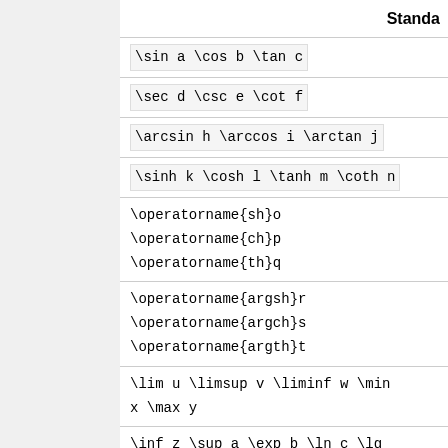Standa
| LaTeX code |
| --- |
| \sin a \cos b \tan c |
| \sec d \csc e \cot f |
| \arcsin h \arccos i \arctan j |
| \sinh k \cosh l \tanh m \coth n |
| \operatorname{sh}o
\operatorname{ch}p
\operatorname{th}q |
| \operatorname{argsh}r
\operatorname{argch}s
\operatorname{argth}t |
| \lim u \limsup v \liminf w \min
x \max y |
| \inf z \sup a \exp b \ln c \lg
\log e \log_{10} f \ker g |